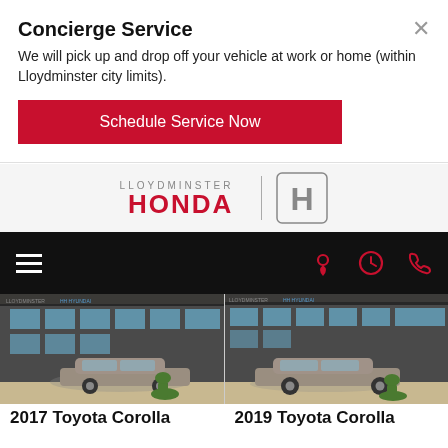Concierge Service
We will pick up and drop off your vehicle at work or home (within Lloydminster city limits).
Schedule Service Now
[Figure (logo): Lloydminster Honda logo with Honda H emblem]
[Figure (screenshot): Navigation bar with hamburger menu and location/clock/phone icons on dark background]
[Figure (photo): 2017 Toyota Corolla parked in front of a Hyundai dealership with a toy dinosaur in the foreground]
[Figure (photo): 2019 Toyota Corolla parked in front of a Hyundai dealership with a toy dinosaur in the foreground]
2017 Toyota Corolla
2019 Toyota Corolla